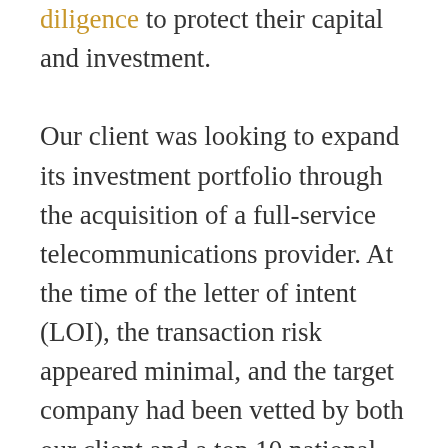diligence to protect their capital and investment.

Our client was looking to expand its investment portfolio through the acquisition of a full-service telecommunications provider. At the time of the letter of intent (LOI), the transaction risk appeared minimal, and the target company had been vetted by both our client and a top 10 national CPA firm that performed sell-side financial due diligence. The sell-side diligence presented a strong view of the target